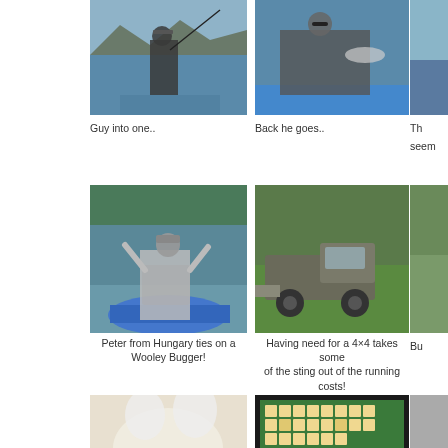[Figure (photo): Man standing on a boat casting a fishing rod, lake and mountains in background]
Guy into one..
[Figure (photo): Man sitting on a boat releasing a fish back into the water]
Back he goes..
[Figure (photo): Partially visible photo on right side, cut off]
The seem
[Figure (photo): Man kneeling on a blue inflatable boat on a river, hands raised, wearing waders and fishing vest]
Peter from Hungary ties on a Wooley Bugger!
[Figure (photo): An old truck with a boat trailer parked on green grass under trees]
Having need for a 4×4 takes some of the sting out of the running costs!
[Figure (photo): Partially visible photo on right side, cut off]
Bu
[Figure (photo): Close-up of a white animal, partially visible at bottom]
[Figure (photo): Scrabble board game partially visible at bottom]
[Figure (photo): Partially visible photo at bottom right, cut off]